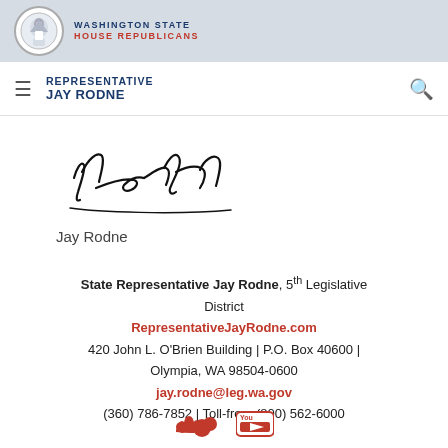WASHINGTON STATE HOUSE REPUBLICANS
REPRESENTATIVE JAY RODNE
[Figure (illustration): Handwritten signature reading 'Jay Rodne']
Jay Rodne
State Representative Jay Rodne, 5th Legislative District
RepresentativeJayRodne.com
420 John L. O'Brien Building | P.O. Box 40600 | Olympia, WA 98504-0600
jay.rodne@leg.wa.gov
(360) 786-7852 | Toll-free: (800) 562-6000
[Figure (logo): SoundCloud and YouTube social media icons]